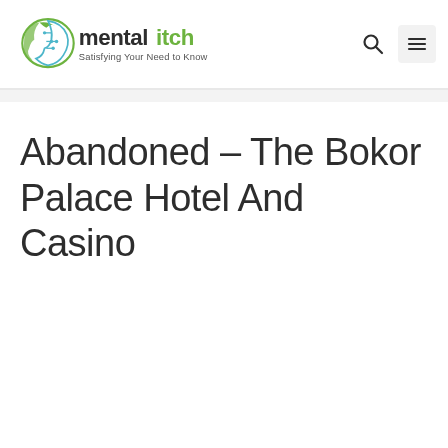mentalitch – Satisfying Your Need to Know
Abandoned – The Bokor Palace Hotel And Casino